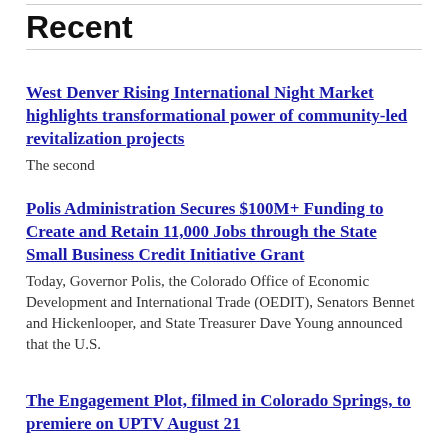Recent
West Denver Rising International Night Market highlights transformational power of community-led revitalization projects
The second
Polis Administration Secures $100M+ Funding to Create and Retain 11,000 Jobs through the State Small Business Credit Initiative Grant
Today, Governor Polis, the Colorado Office of Economic Development and International Trade (OEDIT), Senators Bennet and Hickenlooper, and State Treasurer Dave Young announced that the U.S.
The Engagement Plot, filmed in Colorado Springs, to premiere on UPTV August 21